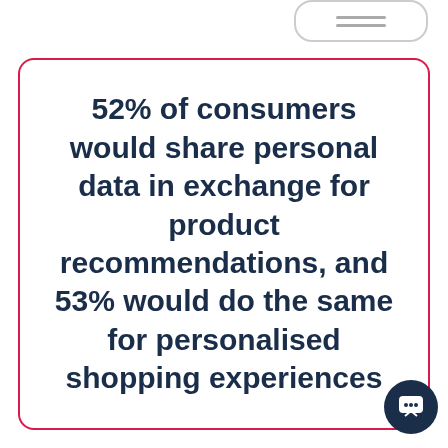[Figure (illustration): Partial phone UI element visible at top right corner — rounded rectangle outline with two horizontal lines inside]
52% of consumers would share personal data in exchange for product recommendations, and 53% would do the same for personalised shopping experiences
[Figure (illustration): Dark navy circular chat/support button icon at bottom right corner]